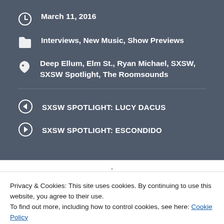March 11, 2016
Interviews, New Music, Show Previews
Deep Ellum, Elm St., Ryan Michael, SXSW, SXSW Spotlight, The Roomsounds
SXSW SPOTLIGHT: LUCY DACUS
SXSW SPOTLIGHT: ESCONDIDO
Privacy & Cookies: This site uses cookies. By continuing to use this website, you agree to their use.
To find out more, including how to control cookies, see here: Cookie Policy
Close and accept